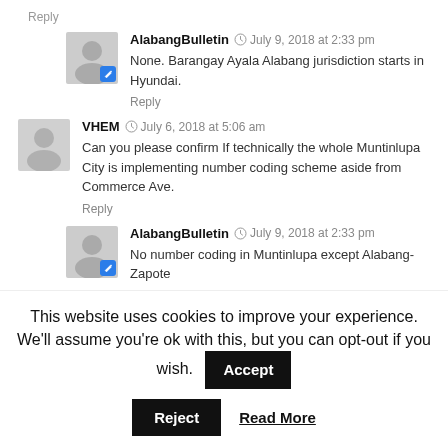Reply
AlabangBulletin  July 9, 2018 at 2:33 pm
None. Barangay Ayala Alabang jurisdiction starts in Hyundai.
Reply
VHEM  July 6, 2018 at 5:06 am
Can you please confirm If technically the whole Muntinlupa City is implementing number coding scheme aside from Commerce Ave.
Reply
AlabangBulletin  July 9, 2018 at 2:33 pm
No number coding in Muntinlupa except Alabang-Zapote
This website uses cookies to improve your experience. We'll assume you're ok with this, but you can opt-out if you wish.
Accept
Reject
Read More